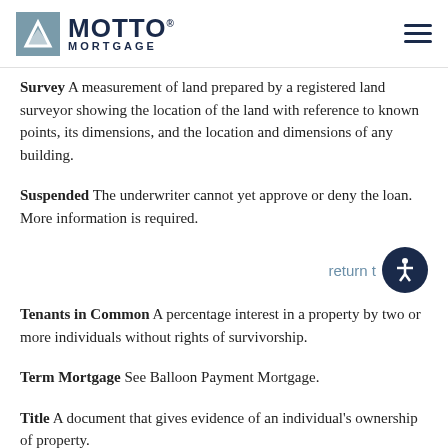MOTTO MORTGAGE
Survey A measurement of land prepared by a registered land surveyor showing the location of the land with reference to known points, its dimensions, and the location and dimensions of any building.
Suspended The underwriter cannot yet approve or deny the loan. More information is required.
return t
Tenants in Common A percentage interest in a property by two or more individuals without rights of survivorship.
Term Mortgage See Balloon Payment Mortgage.
Title A document that gives evidence of an individual's ownership of property.
Title Insurance The insurance policy insuring the lender and/or the buyer that the liens are as stated in